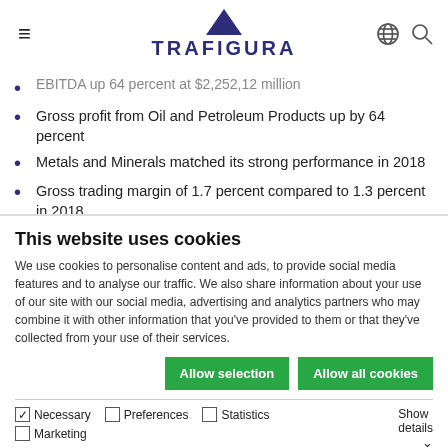TRAFIGURA
EBITDA up 64 percent at $2,252,12 million (truncated/partially visible)
Gross profit from Oil and Petroleum Products up by 64 percent
Metals and Minerals matched its strong performance in 2018
Gross trading margin of 1.7 percent compared to 1.3 percent in 2018
Total trading volume across both divisions up four percent to 389 million metric tonnes
Oil volumes increased to an average of six million barrels per (truncated)
This website uses cookies
We use cookies to personalise content and ads, to provide social media features and to analyse our traffic. We also share information about your use of our site with our social media, advertising and analytics partners who may combine it with other information that you’ve provided to them or that they’ve collected from your use of their services.
Allow selection   Allow all cookies
Necessary  Preferences  Statistics  Marketing  Show details